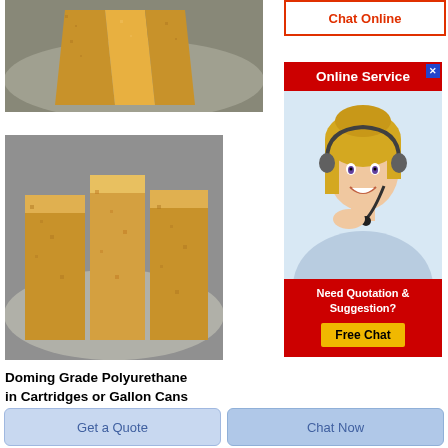[Figure (photo): Close-up photo of polyurethane foam blocks/wedges in golden-brown color on a grey surface, top view]
[Figure (photo): Photo of polyurethane foam blocks standing upright on a round grey surface, showing textured golden-brown foam pieces]
Doming Grade Polyurethane in Cartridges or Gallon Cans
[Figure (screenshot): Chat Online button - orange/red text on white with red border]
[Figure (screenshot): Online Service banner with red header, female agent photo with headset, Need Quotation & Suggestion section, Free Chat yellow button]
Get a Quote
Chat Now